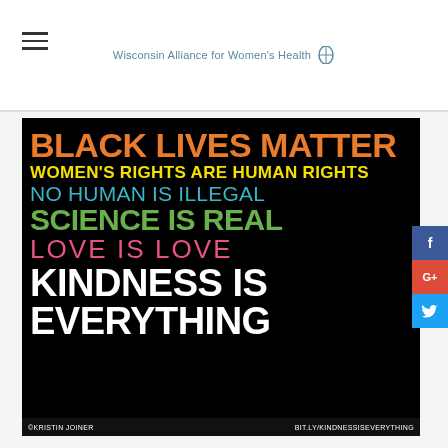Wisconsin Alliance for Women's Health
[Figure (illustration): Black background poster with colorful text slogans: BLACK LIVES MATTER (orange), WOMEN'S RIGHTS ARE HUMAN RIGHTS (yellow), NO HUMAN IS ILLEGAL (cyan/teal), SCIENCE IS REAL (green), LOVE IS LOVE (pink outline), KINDNESS IS EVERYTHING (white bold). Footer: ©KRISTIN JOINER and BIT.LY/KINDNESSISEVERYTHING]